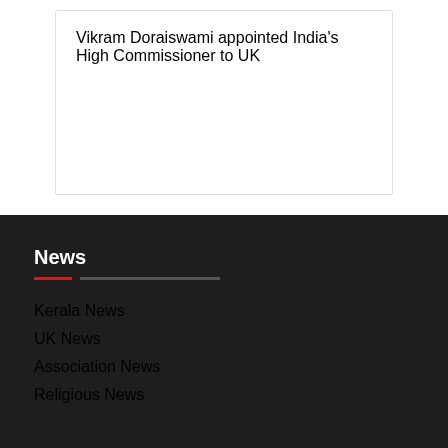Vikram Doraiswami appointed India's High Commissioner to UK
News
Kerala News
UK News
Association News
Religious News